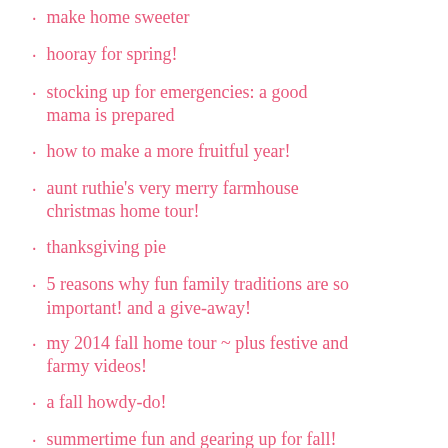make home sweeter
hooray for spring!
stocking up for emergencies: a good mama is prepared
how to make a more fruitful year!
aunt ruthie's very merry farmhouse christmas home tour!
thanksgiving pie
5 reasons why fun family traditions are so important! and a give-away!
my 2014 fall home tour ~ plus festive and farmy videos!
a fall howdy-do!
summertime fun and gearing up for fall!
summertime news
delicious dilly veggie dip